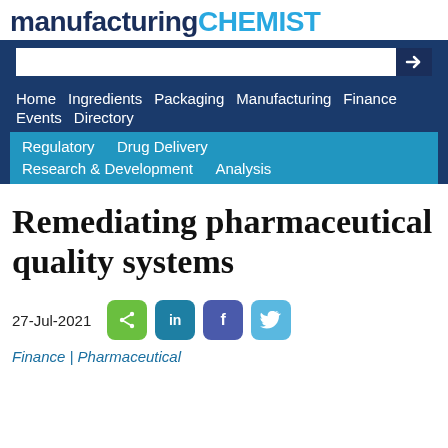manufacturing CHEMIST
[Figure (screenshot): Navigation bar with search box and menu links: Home, Ingredients, Packaging, Manufacturing, Finance, Events, Directory, Regulatory, Drug Delivery, Research & Development, Analysis]
Remediating pharmaceutical quality systems
27-Jul-2021
Finance | Pharmaceutical